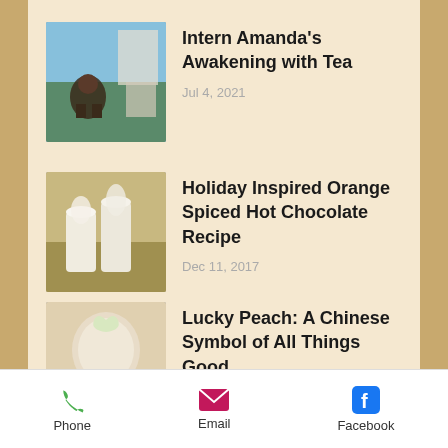[Figure (photo): Person crouching outdoors near a building]
Intern Amanda's Awakening with Tea
Jul 4, 2021
[Figure (photo): White hot chocolate drinks with whipped cream]
Holiday Inspired Orange Spiced Hot Chocolate Recipe
Dec 11, 2017
[Figure (photo): Chinese ceramic peach figurine with colorful base]
Lucky Peach: A Chinese Symbol of All Things Good
May 21, 2017
Phone   Email   Facebook